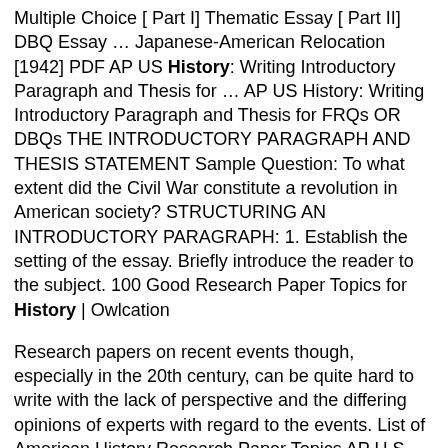Multiple Choice [ Part I] Thematic Essay [ Part II] DBQ Essay … Japanese-American Relocation [1942] PDF AP US History: Writing Introductory Paragraph and Thesis for … AP US History: Writing Introductory Paragraph and Thesis for FRQs OR DBQs THE INTRODUCTORY PARAGRAPH AND THESIS STATEMENT Sample Question: To what extent did the Civil War constitute a revolution in American society? STRUCTURING AN INTRODUCTORY PARAGRAPH: 1. Establish the setting of the essay. Briefly introduce the reader to the subject. 100 Good Research Paper Topics for History | Owlcation
Research papers on recent events though, especially in the 20th century, can be quite hard to write with the lack of perspective and the differing opinions of experts with regard to the events. List of American History Research Paper Topics AP U.S. History Past Exam Questions - The College Board Note about "Form B" Exams. Prior to the May 2012 exam administration, for selected AP subjects, another version of the exam called "Form B" was